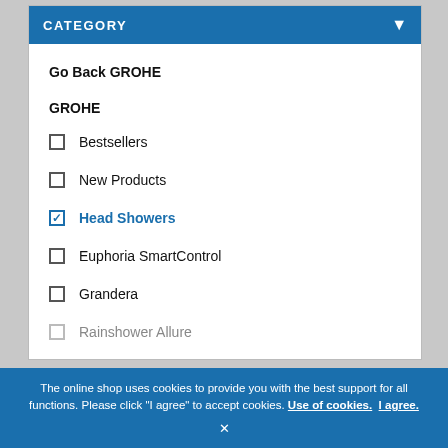CATEGORY
Go Back GROHE
GROHE
Bestsellers
New Products
Head Showers (checked)
Euphoria SmartControl
Grandera
Rainshower Allure (partial)
The online shop uses cookies to provide you with the best support for all functions. Please click "I agree" to accept cookies. Use of cookies. I agree.